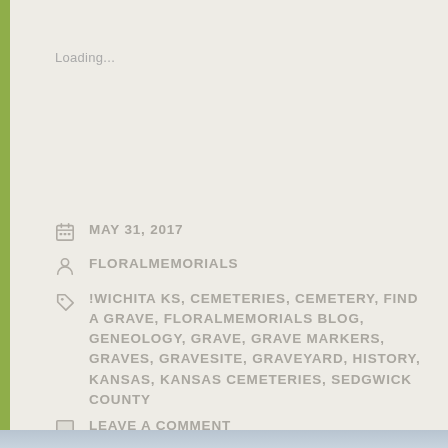Loading...
MAY 31, 2017
FLORALMEMORIALS
!WICHITA KS, CEMETERIES, CEMETERY, FIND A GRAVE, FLORALMEMORIALS BLOG, GENEOLOGY, GRAVE, GRAVE MARKERS, GRAVES, GRAVESITE, GRAVEYARD, HISTORY, KANSAS, KANSAS CEMETERIES, SEDGWICK COUNTY
LEAVE A COMMENT